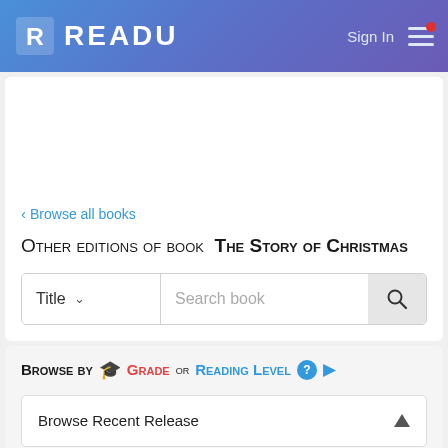READU — Sign In
< Browse all books
Other editions of book The Story of Christmas
[Figure (screenshot): Search bar with Title dropdown and Search book input field with magnifier button]
Browse by Grade or Reading Level
Browse Recent Release